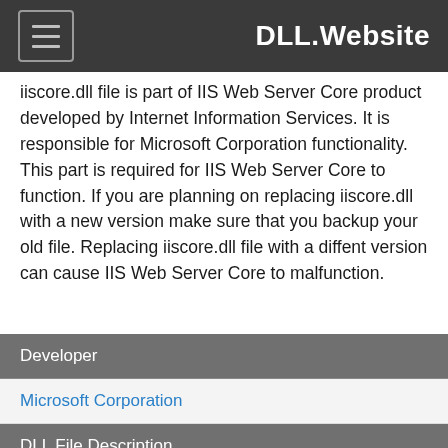DLL.Website
iiscore.dll file is part of IIS Web Server Core product developed by Internet Information Services. It is responsible for Microsoft Corporation functionality. This part is required for IIS Web Server Core to function. If you are planning on replacing iiscore.dll with a new version make sure that you backup your old file. Replacing iiscore.dll file with a diffent version can cause IIS Web Server Core to malfunction.
| Developer |
| --- |
| Microsoft Corporation |
| DLL File Description |
| --- |
| IIS Web Server Core |
| Product |
| --- |
| Internet Information Services |